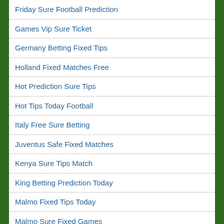Friday Sure Football Prediction
Games Vip Sure Ticket
Germany Betting Fixed Tips
Holland Fixed Matches Free
Hot Prediction Sure Tips
Hot Tips Today Football
Italy Free Sure Betting
Juventus Safe Fixed Matches
Kenya Sure Tips Match
King Betting Prediction Today
Malmo Fixed Tips Today
Malmo Sure Fixed Games
Master Vip Single Tips
Match Fixing Sure Odds
Match Prediction 100 Sure